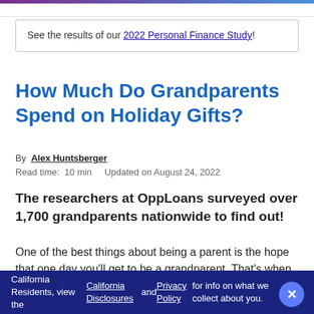See the results of our 2022 Personal Finance Study!
How Much Do Grandparents Spend on Holiday Gifts?
By Alex Huntsberger
Read time: 10 min    Updated on August 24, 2022
The researchers at OppLoans surveyed over 1,700 grandparents nationwide to find out!
One of the best things about being a parent is the hope that one day you’ll get to be a grandparent. That’s when the fun really begins. Instead of worrying about raising
California Residents, view the California Disclosures and Privacy Policy for info on what we collect about you.